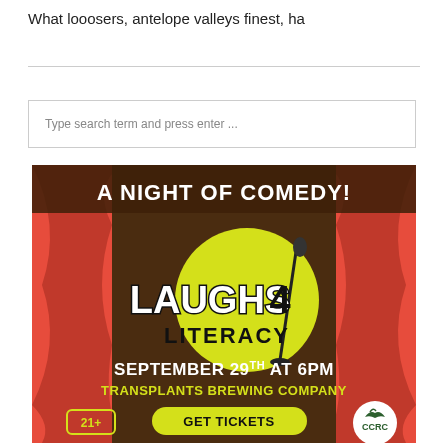What looosers, antelope valleys finest, ha
[Figure (infographic): A Night of Comedy - Laughs 4 Literacy event poster. September 29th at 6PM, Transplants Brewing Company. 21+ event. Get Tickets button. CCRC logo. Features a microphone on a yellow circle against red curtains backdrop.]
Type search term and press enter ...